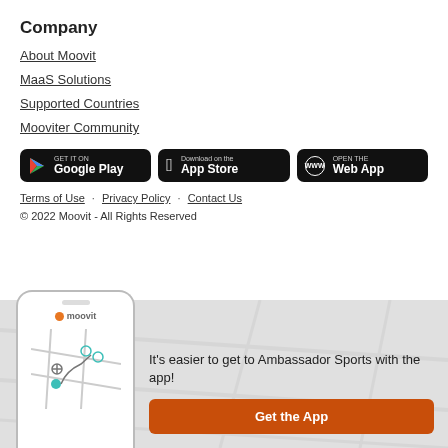Company
About Moovit
MaaS Solutions
Supported Countries
Mooviter Community
[Figure (other): Three app store buttons: GET IT ON Google Play, Download on the App Store, OPEN THE Web App]
Terms of Use · Privacy Policy · Contact Us
© 2022 Moovit - All Rights Reserved
[Figure (screenshot): Moovit app promo banner with phone mockup showing map, and text: It's easier to get to Ambassador Sports with the app! Get the App button.]